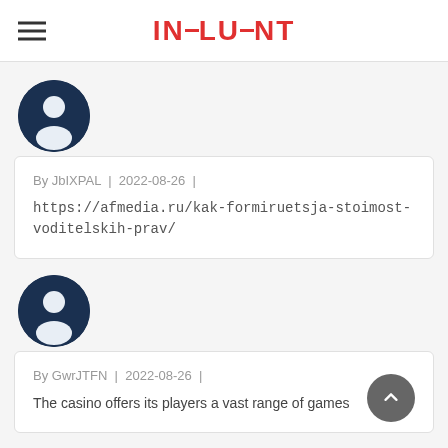INFLUENT
[Figure (illustration): User avatar circle icon with dark navy background, person silhouette in white]
By JbIXPAL | 2022-08-26 | https://afmedia.ru/kak-formiruetsja-stoimost-voditelskih-prav/
[Figure (illustration): User avatar circle icon with dark navy background, person silhouette in white]
By GwrJTFN | 2022-08-26 | The casino offers its players a vast range of games